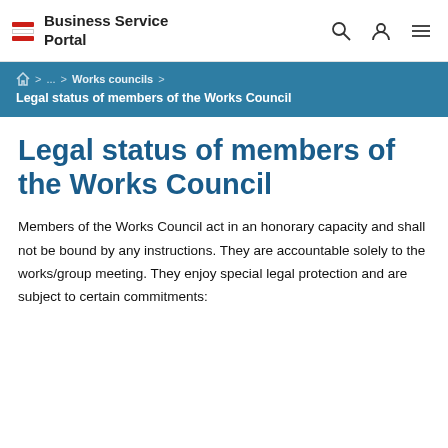Business Service Portal
⌂ > ... > Works councils > Legal status of members of the Works Council
Legal status of members of the Works Council
Members of the Works Council act in an honorary capacity and shall not be bound by any instructions. They are accountable solely to the works/group meeting. They enjoy special legal protection and are subject to certain commitments: